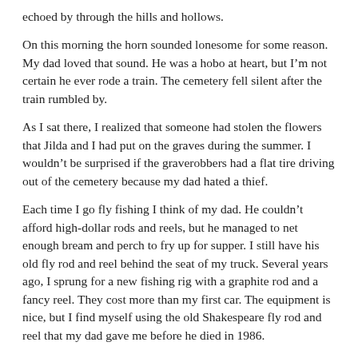echoed by through the hills and hollows.
On this morning the horn sounded lonesome for some reason. My dad loved that sound. He was a hobo at heart, but I'm not certain he ever rode a train. The cemetery fell silent after the train rumbled by.
As I sat there, I realized that someone had stolen the flowers that Jilda and I had put on the graves during the summer. I wouldn't be surprised if the graverobbers had a flat tire driving out of the cemetery because my dad hated a thief.
Each time I go fly fishing I think of my dad. He couldn't afford high-dollar rods and reels, but he managed to net enough bream and perch to fry up for supper. I still have his old fly rod and reel behind the seat of my truck. Several years ago, I sprung for a new fishing rig with a graphite rod and a fancy reel. They cost more than my first car. The equipment is nice, but I find myself using the old Shakespeare fly rod and reel that my dad gave me before he died in 1986.
My dad also loved to drive the backroads. Some of the roads were tar and gravel, but others were paved with crushed red rock. The potholes in some of those old backroads were brutal. I heard him tell his friend Glen Sellers a story about getting stopped by a policeman while driving down one of those backroads. The officer said, “Mr. Watson you were weaving.